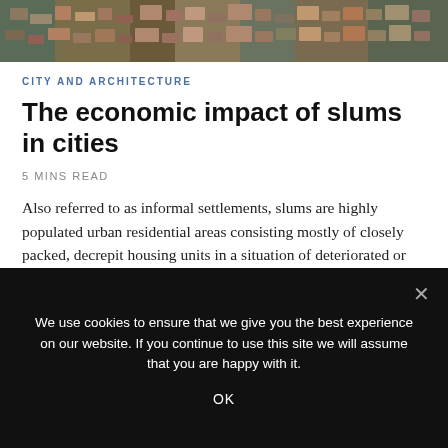[Figure (photo): Aerial view of a densely packed urban slum/informal settlement showing closely packed rooftops and buildings in earthy tones]
CITY AND ARCHITECTURE
The economic impact of slums in cities
5 MINS READ
Also referred to as informal settlements, slums are highly populated urban residential areas consisting mostly of closely packed, decrepit housing units in a situation of deteriorated or incomplete infrastructure, inhabited primarily
We use cookies to ensure that we give you the best experience on our website. If you continue to use this site we will assume that you are happy with it.
OK